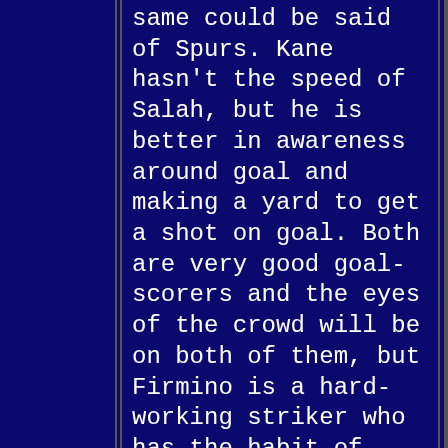same could be said of Spurs.  Kane hasn't the speed of Salah, but he is better in awareness around goal and making a yard to get a shot on goal.  Both are very good goal-scorers and the eyes of the crowd will be on both of them, but Firmino is a hard-working striker who has the habit of getting into the box and Mane's pace makes him a potent weapon.  On Tottenham's side, they might be missing Dele, but Eriksen is hitting a rich vein of form, Son returns from his successful quest to avoid